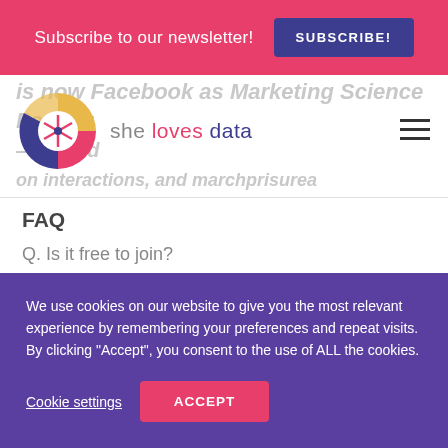Subscribe to our newsletter! SUBSCRIBE!
[Figure (logo): She Loves Data logo with colorful pie-chart style circular icon and text 'she loves data']
FAQ
Q. Is it free to join?
A. Yes! Participation is free, but slots are limited,
We use cookies on our website to give you the most relevant experience by remembering your preferences and repeat visits. By clicking "Accept", you consent to the use of ALL the cookies.
Cookie settings  ACCEPT